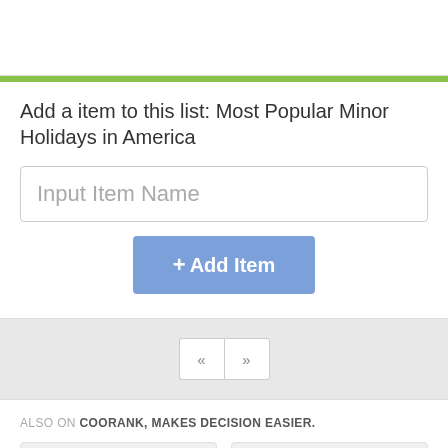Add a item to this list: Most Popular Minor Holidays in America
Input Item Name
+ Add Item
« »
ALSO ON COORANK, MAKES DECISION EASIER.